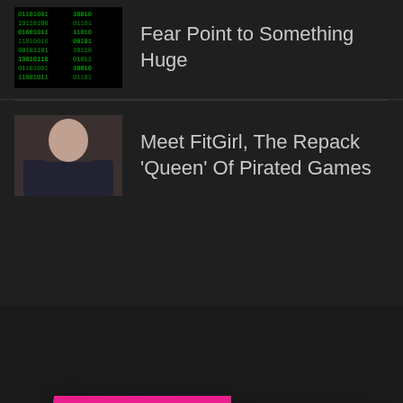Fear Point to Something Huge
[Figure (photo): Matrix-style green code thumbnail]
Meet FitGirl, The Repack ‘Queen’ Of Pirated Games
[Figure (photo): FitGirl article thumbnail showing person]
FROM 2 YEARS AGO...
[Figure (photo): Polaroid-style photo of person with hands covering face, wearing grey shirt]